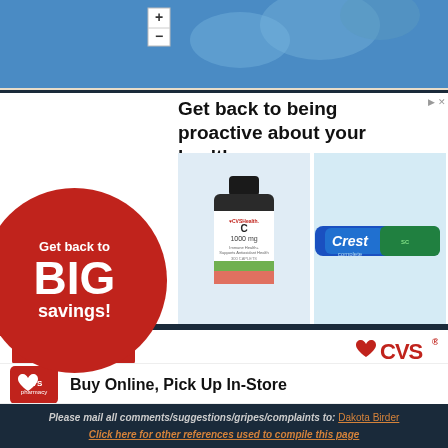[Figure (map): Blue map with + and - zoom controls visible, world map in background]
[Figure (infographic): CVS Health advertisement: Red circle with 'Get back to BIG savings!' text, headline 'Get back to being proactive about your health', product images of CVS Vitamin C 1000mg bottle and Crest toothpaste tube]
Shop now
[Figure (logo): CVS logo in red]
Buy Online, Pick Up In-Store
CVS
Ashburn 08:00 – 00:00
Please mail all comments/suggestions/gripes/complaints to: Dakota Birder
Click here for other references used to compile this page